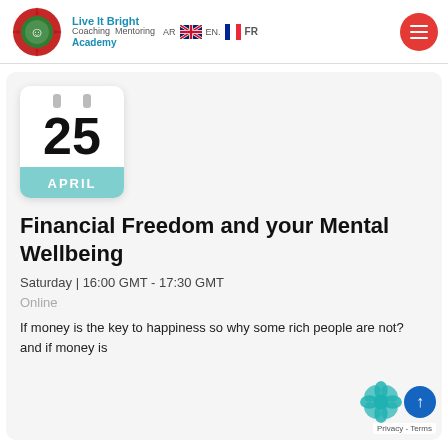Live It Bright Coaching Mentoring Academy | AR | EN | FR
[Figure (illustration): Calendar icon showing date 25 April with teal month bar]
Financial Freedom and your Mental Wellbeing
Saturday | 16:00 GMT - 17:30 GMT
Online
If money is the key to happiness so why some rich people are not? and if money is